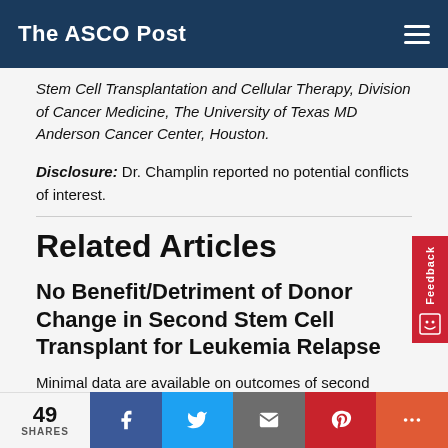The ASCO Post
Stem Cell Transplantation and Cellular Therapy, Division of Cancer Medicine, The University of Texas MD Anderson Cancer Center, Houston.
Disclosure: Dr. Champlin reported no potential conflicts of interest.
Related Articles
No Benefit/Detriment of Donor Change in Second Stem Cell Transplant for Leukemia Relapse
Minimal data are available on outcomes of second allogeneic hematopoietic stem cell transplantation from
49 SHARES